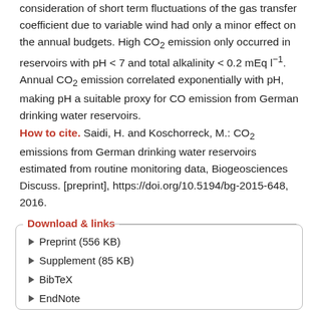consideration of short term fluctuations of the gas transfer coefficient due to variable wind had only a minor effect on the annual budgets. High CO₂ emission only occurred in reservoirs with pH < 7 and total alkalinity < 0.2 mEq l⁻¹. Annual CO₂ emission correlated exponentially with pH, making pH a suitable proxy for CO emission from German drinking water reservoirs.
How to cite. Saidi, H. and Koschorreck, M.: CO₂ emissions from German drinking water reservoirs estimated from routine monitoring data, Biogeosciences Discuss. [preprint], https://doi.org/10.5194/bg-2015-648, 2016.
Download & links
Preprint (556 KB)
Supplement (85 KB)
BibTeX
EndNote